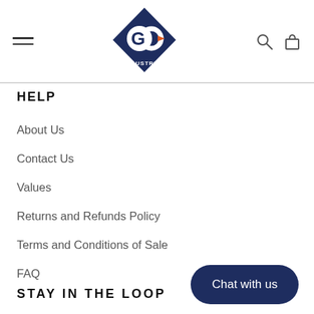[Figure (logo): GO Industrial logo — dark navy blue diamond shape with 'GO' text (white and orange arrow) and 'INDUSTRIAL' text below]
HELP
About Us
Contact Us
Values
Returns and Refunds Policy
Terms and Conditions of Sale
FAQ
STAY IN THE LOOP
Chat with us